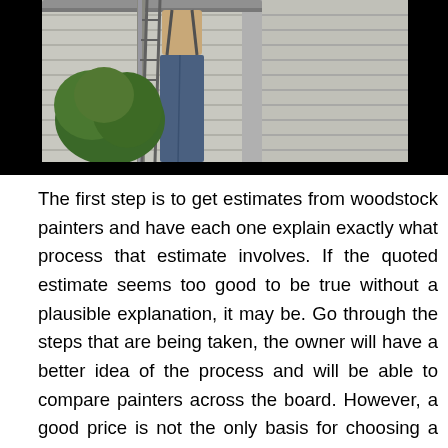[Figure (photo): A person standing on a ladder working on house gutters/siding. Partial view of a person in blue jeans with suspenders on a ladder against a house with siding and gutters visible, with green foliage in background.]
The first step is to get estimates from woodstock painters and have each one explain exactly what process that estimate involves. If the quoted estimate seems too good to be true without a plausible explanation, it may be. Go through the steps that are being taken, the owner will have a better idea of the process and will be able to compare painters across the board. However, a good price is not the only basis for choosing a woodstock painters company.See what payment programs are available. Most service companies